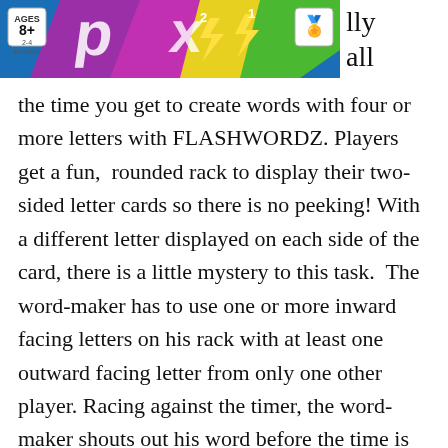[Figure (photo): Flashwordz board game box image with colorful design, age 8+ and 2-4 players labels visible]
lly
all
the time you get to create words with four or more letters with FLASHWORDZ. Players get a fun, rounded rack to display their two-sided letter cards so there is no peeking! With a different letter displayed on each side of the card, there is a little mystery to this task. The word-maker has to use one or more inward facing letters on his rack with at least one outward facing letter from only one other player. Racing against the timer, the word-maker shouts out his word before the time is up. If he runs out of time, it's a free-for-all Flash Round, as other players race to form a word. Clever opponents are working on their words while the word- maker is